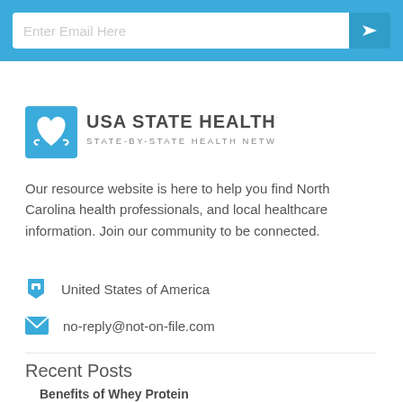Enter Email Here
[Figure (logo): USA State Health logo — blue shield icon with heart and wings, text: USA STATE HEALTH STATE-BY-STATE HEALTH NETWORK]
Our resource website is here to help you find North Carolina health professionals, and local healthcare information. Join our community to be connected.
United States of America
no-reply@not-on-file.com
Recent Posts
Benefits of Whey Protein